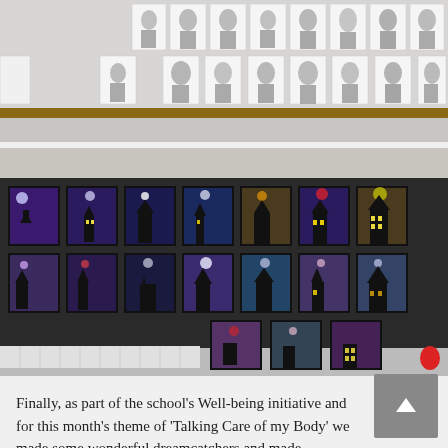[Figure (photo): Black and white student portrait drawings pinned to a classroom wall.]
[Figure (photo): Colorful Halloween/night-scene artwork by students displayed on a classroom wall, showing silhouettes of houses and trees against purple, blue, and pink skies.]
Finally, as part of the school's Well-being initiative and for this month's theme of 'Talking Care of my Body' we made some wonderful dreamcatchers and made